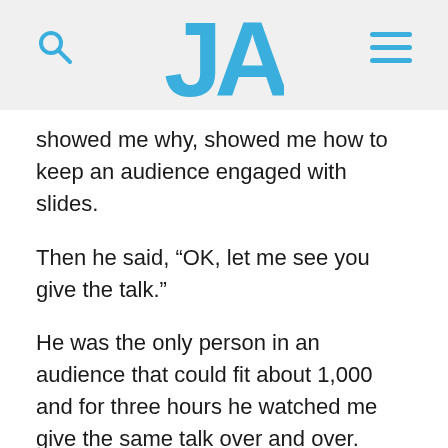JA
showed me why, showed me how to keep an audience engaged with slides.
Then he said, “OK, let me see you give the talk.”
He was the only person in an audience that could fit about 1,000 and for three hours he watched me give the same talk over and over.
Constantly stopping me, telling me how to move across the stage, where to put in jokes,